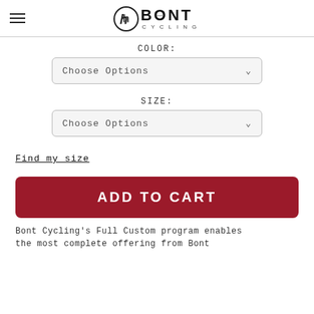[Figure (logo): Bont Cycling logo with circular emblem on left and BONT CYCLING text on right]
COLOR:
[Figure (screenshot): Choose Options dropdown selector for Color]
SIZE:
[Figure (screenshot): Choose Options dropdown selector for Size]
Find my size
ADD TO CART
Bont Cycling's Full Custom program enables the most complete offering from Bont